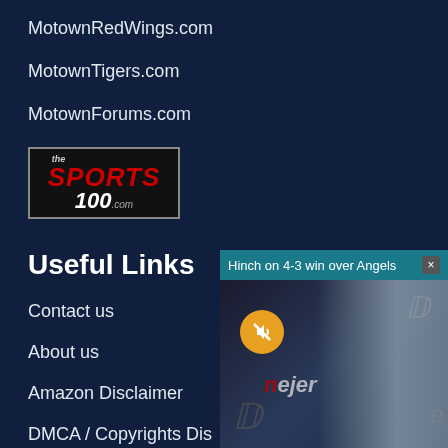MotownRedWings.com
MotownTigers.com
MotownForums.com
[Figure (logo): The Sports 100 .com logo — white/red text on black background with border]
Useful Links
Contact us
About us
Amazon Disclaimer
DMCA / Copyrights Dis
Privacy Policy
Terms and Conditions
[Figure (screenshot): Video overlay popup showing 'Hinch on 4-3 win over Angels' with a Detroit Tigers manager at a press conference, mute button visible, Meijer branding in background, close button (×) in top right]